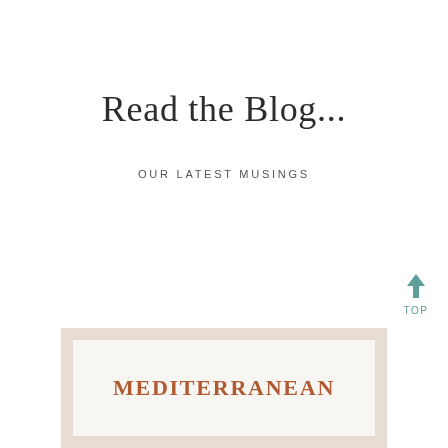Read the Blog...
OUR LATEST MUSINGS
[Figure (other): Back-to-top button with upward arrow and the word TOP in teal/muted green color]
[Figure (other): Book cover partially visible at the bottom of the page with a beige/cream frame and the word MEDITERRANEAN in terracotta/rust colored bold serif letters]